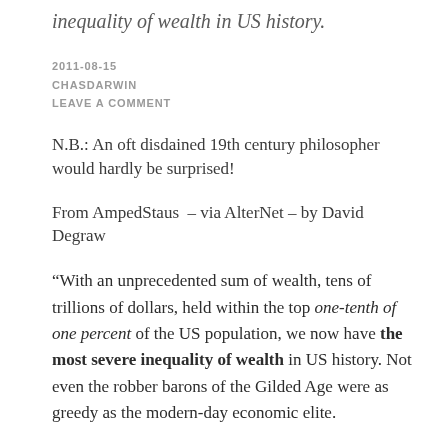inequality of wealth in US history.
2011-08-15
CHASDARWIN
LEAVE A COMMENT
N.B.: An oft disdained 19th century philosopher would hardly be surprised!
From AmpedStaus – via AlterNet – by David Degraw
“With an unprecedented sum of wealth, tens of trillions of dollars, held within the top one-tenth of one percent of the US population, we now have the most severe inequality of wealth in US history. Not even the robber barons of the Gilded Age were as greedy as the modern-day economic elite.